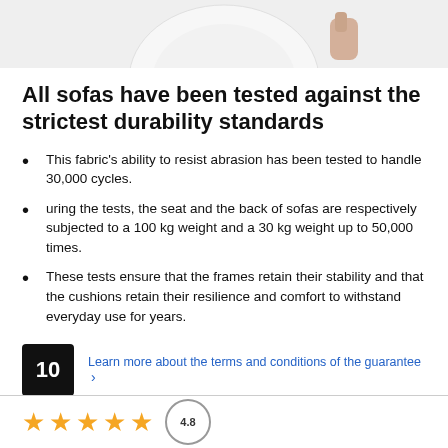[Figure (photo): Partial photo of a person in white fabric/sofa, cropped at top of page]
All sofas have been tested against the strictest durability standards
This fabric's ability to resist abrasion has been tested to handle 30,000 cycles.
uring the tests, the seat and the back of sofas are respectively subjected to a 100 kg weight and a 30 kg weight up to 50,000 times.
These tests ensure that the frames retain their stability and that the cushions retain their resilience and comfort to withstand everyday use for years.
10  Learn more about the terms and conditions of the guarantee ›
[Figure (other): Five gold/yellow star rating icons and a circular rating badge at the bottom of the page]